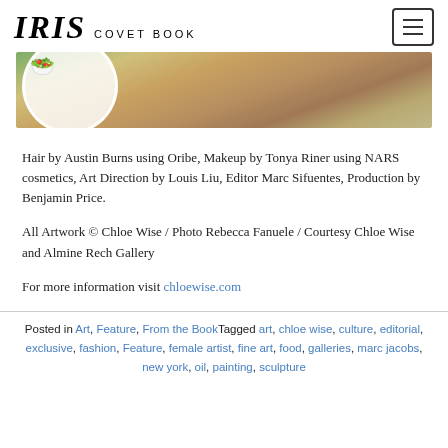IRIS COVET BOOK
[Figure (photo): Partial view of a plate with food (greens, colorful items) on a wooden table surface]
Hair by Austin Burns using Oribe, Makeup by Tonya Riner using NARS cosmetics, Art Direction by Louis Liu, Editor Marc Sifuentes, Production by Benjamin Price.
All Artwork © Chloe Wise / Photo Rebecca Fanuele / Courtesy Chloe Wise and Almine Rech Gallery
For more information visit chloewise.com
Posted in Art, Feature, From the Book Tagged art, chloe wise, culture, editorial, exclusive, fashion, Feature, female artist, fine art, food, galleries, marc jacobs, new york, oil, painting, sculpture